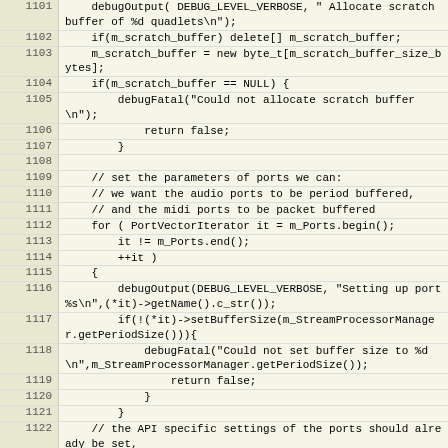Code listing lines 1101-1125 showing C++ source code for scratch buffer allocation and port initialization
| Line | Code |
| --- | --- |
| 1101 |     debugOutput( DEBUG_LEVEL_VERBOSE, " Allocate scratch buffer of %d quadlets\n"); |
| 1102 |     if(m_scratch_buffer) delete[] m_scratch_buffer; |
| 1103 |     m_scratch_buffer = new byte_t[m_scratch_buffer_size_bytes]; |
| 1104 |     if(m_scratch_buffer == NULL) { |
| 1105 |         debugFatal("Could not allocate scratch buffer\n"); |
| 1106 |             return false; |
| 1107 |         } |
| 1108 |  |
| 1109 |     // set the parameters of ports we can: |
| 1110 |     // we want the audio ports to be period buffered, |
| 1111 |     // and the midi ports to be packet buffered |
| 1112 |     for ( PortVectorIterator it = m_Ports.begin(); |
| 1113 |         it != m_Ports.end(); |
| 1114 |         ++it ) |
| 1115 |     { |
| 1116 |         debugOutput(DEBUG_LEVEL_VERBOSE, "Setting up port %s\n",(*it)->getName().c_str()); |
| 1117 |         if(!(*it)->setBufferSize(m_StreamProcessorManager.getPeriodSize())){ |
| 1118 |             debugFatal("Could not set buffer size to %d\n",m_StreamProcessorManager.getPeriodSize()); |
| 1119 |                 return false; |
| 1120 |             } |
| 1121 |         } |
| 1122 |     // the API specific settings of the ports should already be set, |
| 1123 |     // as this is called from the processorManager->prepare() |
| 1124 |     // so we can init the ports |
| 1125 |     if(!PortManager::initPorts()) { |